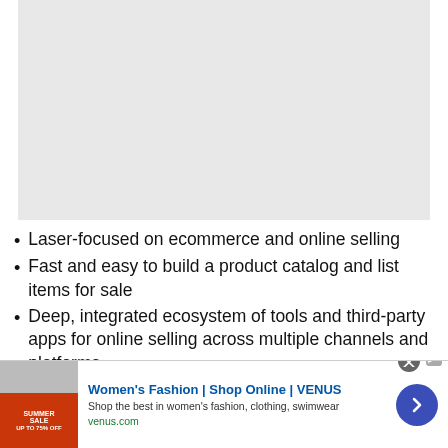[Figure (other): Light gray rectangular placeholder image area]
Laser-focused on ecommerce and online selling
Fast and easy to build a product catalog and list items for sale
Deep, integrated ecosystem of tools and third-party apps for online selling across multiple channels and platforms
[Figure (screenshot): Advertisement banner: Women's Fashion | Shop Online | VENUS — Shop the best in women's fashion, clothing, swimwear — venus.com]